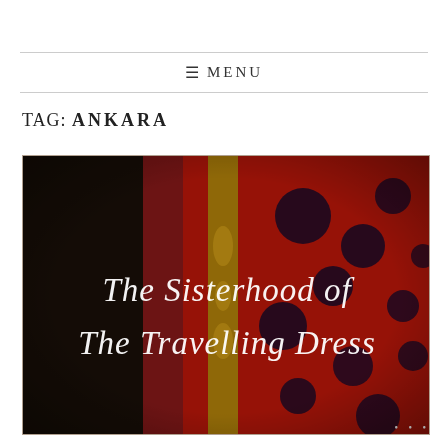≡ MENU
TAG: ANKARA
[Figure (photo): A dark photograph showing a woman wearing an Ankara print dress in red, gold, and black with bold circular patterns. Overlaid cursive white text reads 'The Sisterhood of The Travelling Dress'.]
• • •